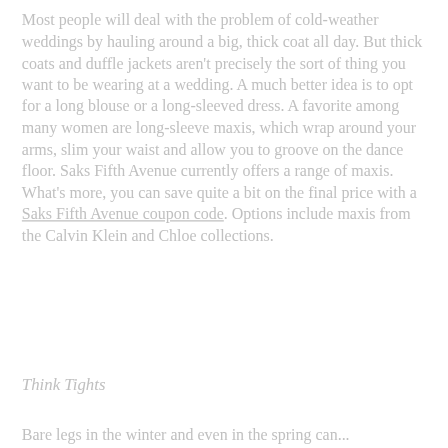Most people will deal with the problem of cold-weather weddings by hauling around a big, thick coat all day. But thick coats and duffle jackets aren't precisely the sort of thing you want to be wearing at a wedding. A much better idea is to opt for a long blouse or a long-sleeved dress. A favorite among many women are long-sleeve maxis, which wrap around your arms, slim your waist and allow you to groove on the dance floor. Saks Fifth Avenue currently offers a range of maxis. What's more, you can save quite a bit on the final price with a Saks Fifth Avenue coupon code. Options include maxis from the Calvin Klein and Chloe collections.
Think Tights
Bare legs in the winter and even in the spring can...